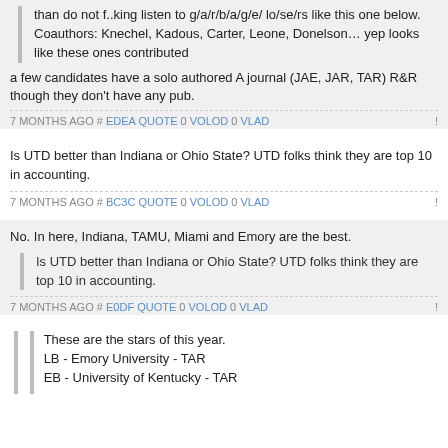than do not f..king listen to g/a/r/b/a/g/e/ lo/se/rs like this one below. Coauthors: Knechel, Kadous, Carter, Leone, Donelson… yep looks like these ones contributed
a few candidates have a solo authored A journal (JAE, JAR, TAR) R&R though they don't have any pub.
7 MONTHS AGO # EDEA QUOTE 0 VOLOD 0 VLAD !
Is UTD better than Indiana or Ohio State? UTD folks think they are top 10 in accounting.
7 MONTHS AGO # BC3C QUOTE 0 VOLOD 0 VLAD !
No. In here, Indiana, TAMU, Miami and Emory are the best.
Is UTD better than Indiana or Ohio State? UTD folks think they are top 10 in accounting.
7 MONTHS AGO # E0DF QUOTE 0 VOLOD 0 VLAD !
These are the stars of this year.
LB - Emory University - TAR
EB - University of Kentucky - TAR